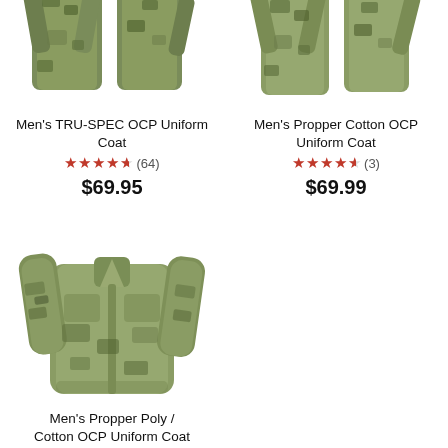[Figure (photo): Men's TRU-SPEC OCP Uniform Coat – camouflage military jacket, cropped top portion shown]
Men's TRU-SPEC OCP Uniform Coat
★★★★½ (64)
$69.95
[Figure (photo): Men's Propper Cotton OCP Uniform Coat – camouflage military jacket, cropped top portion shown]
Men's Propper Cotton OCP Uniform Coat
★★★★½ (3)
$69.99
[Figure (photo): Men's Propper Poly / Cotton OCP Uniform Coat – full camouflage military jacket shown]
Men's Propper Poly / Cotton OCP Uniform Coat
★★★★½ (1)
$64.99